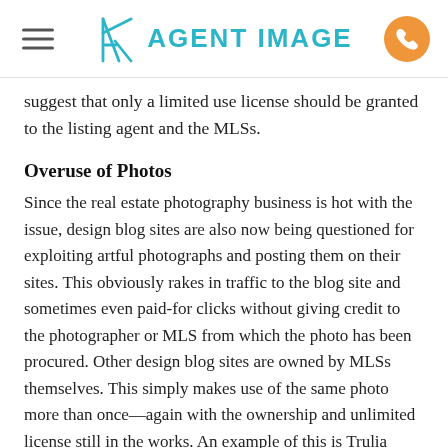Agent Image
suggest that only a limited use license should be granted to the listing agent and the MLSs.
Overuse of Photos
Since the real estate photography business is hot with the issue, design blog sites are also now being questioned for exploiting artful photographs and posting them on their sites. This obviously rakes in traffic to the blog site and sometimes even paid-for clicks without giving credit to the photographer or MLS from which the photo has been procured. Other design blog sites are owned by MLSs themselves. This simply makes use of the same photo more than once—again with the ownership and unlimited license still in the works. An example of this is Trulia Luxe, a house design blog featuring high-end properties listed on Trulia. Even though Trulia uses the photos “to generate search results as a navigational tool to direct you to the originating Web site”, their TOS also states that “Trulia does not assert